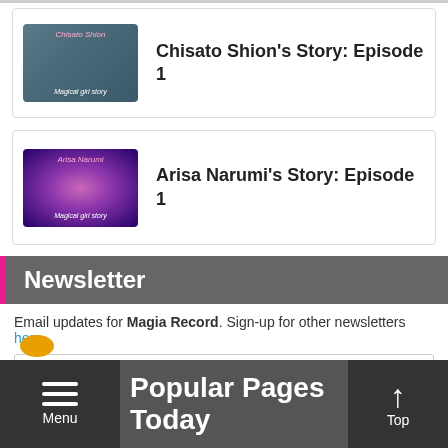[Figure (screenshot): Thumbnail image for Chisato Shion's Story: Episode 1, showing a dark-haired anime character with teal/grey background]
Chisato Shion's Story: Episode 1
[Figure (screenshot): Thumbnail image for Arisa Narumi's Story: Episode 1, showing a pink-haired anime character with purple sparkle background]
Arisa Narumi's Story: Episode 1
Newsletter
Email updates for Magia Record. Sign-up for other newsletters here.
Email Address
Subscribe
Popular Pages Today